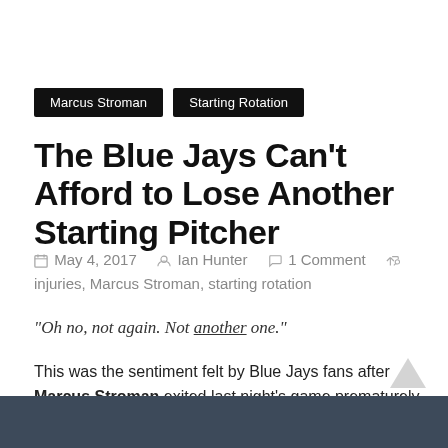Marcus Stroman
Starting Rotation
The Blue Jays Can’t Afford to Lose Another Starting Pitcher
May 4, 2017  Ian Hunter  1 Comment  injuries, Marcus Stroman, starting rotation
“Oh no, not again. Not another one.”
This was the sentiment felt by Blue Jays fans after Marcus Stroman exited last night’s game prematurely.
Read more